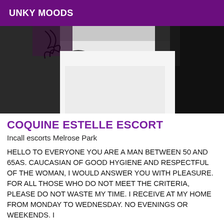UNKY MOODS
[Figure (photo): Close-up photo showing dark clothing with lace-up detail against white bedding/fabric background]
COQUINE ESTELLE ESCORT
Incall escorts Melrose Park
HELLO TO EVERYONE YOU ARE A MAN BETWEEN 50 AND 65AS. CAUCASIAN OF GOOD HYGIENE AND RESPECTFUL OF THE WOMAN, I WOULD ANSWER YOU WITH PLEASURE. FOR ALL THOSE WHO DO NOT MEET THE CRITERIA, PLEASE DO NOT WASTE MY TIME. I RECEIVE AT MY HOME FROM MONDAY TO WEDNESDAY. NO EVENINGS OR WEEKENDS. I